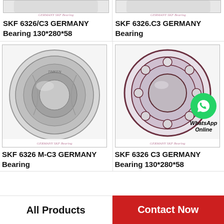[Figure (photo): Partial top crop of SKF 6326/C3 GERMANY Bearing with watermark 'GERMANY SKF Bearing']
SKF 6326/C3 GERMANY Bearing 130*280*58
[Figure (photo): Partial top crop of SKF 6326.C3 GERMANY Bearing with watermark 'GERMANY SKF Bearing']
SKF 6326.C3 GERMANY Bearing
[Figure (photo): SKF 6326 M-C3 GERMANY spherical roller bearing photo with watermark 'GERMANY SKF Bearing']
SKF 6326 M-C3 GERMANY Bearing
[Figure (photo): SKF 6326 C3 GERMANY angular contact ball bearing with WhatsApp Online overlay and watermark 'GERMANY SKF Bearing']
SKF 6326 C3 GERMANY Bearing 130*280*58
All Products
Contact Now